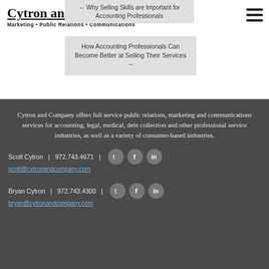Cytron and Company
Marketing • Public Relations • Communications
← Why Selling Skills are Important for Accounting Professionals
How Accounting Professionals Can Become Better at Selling Their Services →
Cytron and Company offers full service public relations, marketing and communications services for accounting, legal, medical, debt collection and other professional service industries, as well as a variety of consumer-based industries.
Scott Cytron  |  972.743.4671  |
scott@cytronandcompany.com
Bryan Cytron  |  972.743.4300  |
bryan@cytronandcompany.com